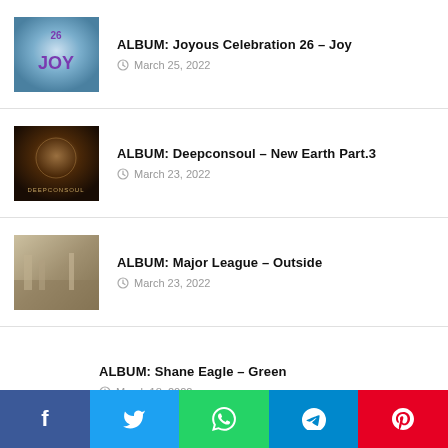ALBUM: Joyous Celebration 26 – Joy
March 25, 2022
ALBUM: Deepconsoul – New Earth Part.3
March 23, 2022
ALBUM: Major League – Outside
March 23, 2022
ALBUM: Shane Eagle – Green
March 18, 2022
Facebook Twitter WhatsApp Telegram Pinterest